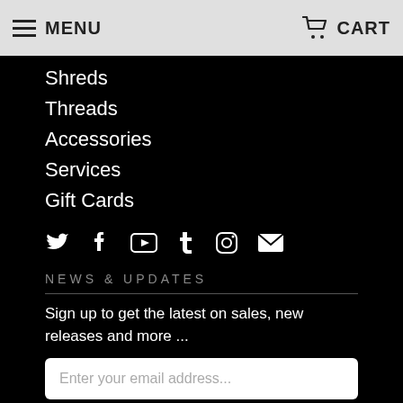MENU   CART
Shreds
Threads
Accessories
Services
Gift Cards
[Figure (infographic): Social media icons row: Twitter, Facebook, YouTube, Tumblr, Instagram, Email]
NEWS & UPDATES
Sign up to get the latest on sales, new releases and more ...
Enter your email address...
SIGN UP